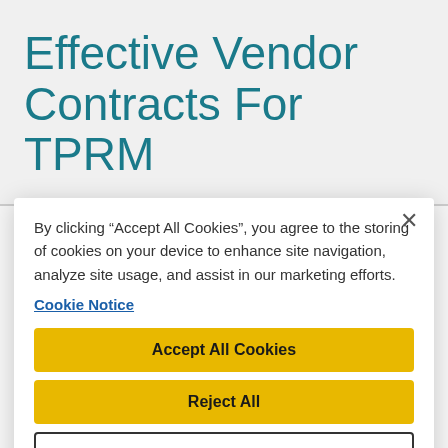Effective Vendor Contracts For TPRM
By clicking “Accept All Cookies”, you agree to the storing of cookies on your device to enhance site navigation, analyze site usage, and assist in our marketing efforts.
Cookie Notice
Accept All Cookies
Reject All
Cookies Settings